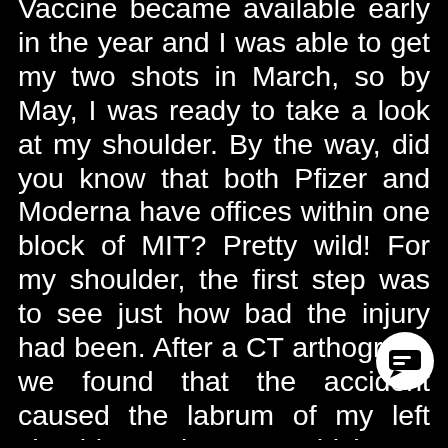Vaccine became available early in the year and I was able to get my two shots in March, so by May, I was ready to take a look at my shoulder. By the way, did you know that both Pfizer and Moderna have offices within one block of MIT? Pretty wild! For my shoulder, the first step was to see just how bad the injury had been. After a CT arthogram, we found that the accident caused the labrum of my left shoulder to rip apart, which was the exact same injury that a prior surgery had repaired. I needed to have the same labral tear repair surgery that I had in April of 2019. I knew I wanted to go on a road trip during the summer since we had a vaccine, so I decided to wait and get the surg soon as I returned. It was very